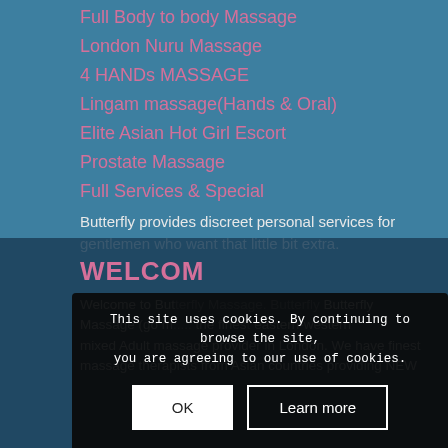Full Body to body Massage
London Nuru Massage
4 HANDs MASSAGE
Lingam massage(Hands & Oral)
Elite Asian Hot Girl Escort
Prostate Massage
Full Services & Special
Butterfly provides discreet personal services for gentlemen who want that little bit extra.
This site uses cookies. By continuing to browse the site, you are agreeing to our use of cookies.
WELCO...
Welcome to Butterfly Massage... Butterfly Massage (go m... the finest western-western mixed Adult massage provider in London. We have finest massage therapists from Asian countries providing NEW